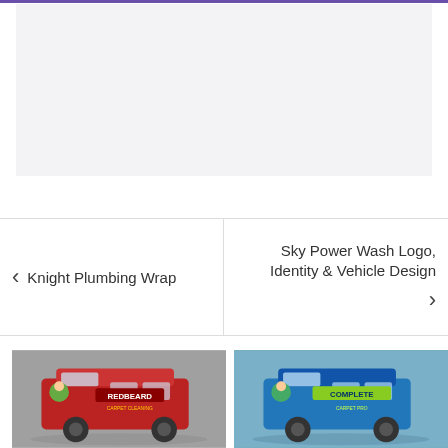[Figure (other): Light gray placeholder image area at top of page]
< Knight Plumbing Wrap
Sky Power Wash Logo, Identity & Vehicle Design >
[Figure (photo): Red van with Redbeard Carpet Cleaning vehicle wrap design, showing branded graphics with green cartoon character]
[Figure (photo): Blue van with Complete Carpet Pro vehicle wrap design, showing green and blue branded graphics with cartoon character]